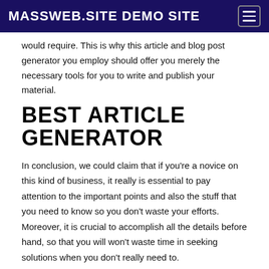MASSWEB.SITE DEMO SITE
would require. This is why this article and blog post generator you employ should offer you merely the necessary tools for you to write and publish your material.
BEST ARTICLE GENERATOR
In conclusion, we could claim that if you’re a novice on this kind of business, it really is essential to pay attention to the important points and also the stuff that you need to know so you don’t waste your efforts. Moreover, it is crucial to accomplish all the details before hand, so that you will won’t waste time in seeking solutions when you don’t really need to.
Every site owner or webmaster is at search associated with an automatic content composer. It is difficult to create new articles